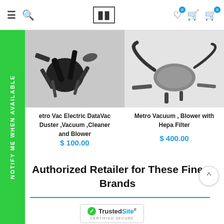Navigation bar with menu, search, logo, wishlist (0), cart (0)
[Figure (photo): Metro Vac Electric DataVac Duster accessories/attachments on dark background]
[Figure (photo): Metro Vacuum Blower with Hepa Filter kit with hoses and attachments on white background]
etro Vac Electric DataVac Duster ,Vacuum ,Cleaner and Blower
$ 100.00
Metro Vacuum , Blower with Hepa Filter
$ 400.00
Authorized Retailer for These Fine Brands
[Figure (logo): TrustedSite Certified Secure badge]